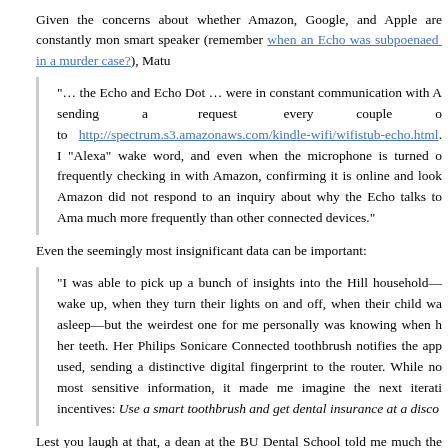Given the concerns about whether Amazon, Google, and Apple are constantly monitoring via smart speaker (remember when an Echo was subpoenaed in a murder case?), Matu...
"… the Echo and Echo Dot … were in constant communication with A sending a request every couple of to http://spectrum.s3.amazonaws.com/kindle-wifi/wifistub-echo.html. "Alexa" wake word, and even when the microphone is turned o frequently checking in with Amazon, confirming it is online and loo Amazon did not respond to an inquiry about why the Echo talks to Am much more frequently than other connected devices."
Even the seemingly most insignificant data can be important:
"I was able to pick up a bunch of insights into the Hill household— wake up, when they turn their lights on and off, when their child wa asleep—but the weirdest one for me personally was knowing when h her teeth. Her Philips Sonicare Connected toothbrush notifies the ap used, sending a distinctive digital fingerprint to the router. While no most sensitive information, it made me imagine the next iterati incentives: Use a smart toothbrush and get dental insurance at a disco"
Lest you laugh at that, a dean at the BU Dental School told me much the sam evidence from a Colgate smart brush, in this case, could actually revolutionize d your dentist how well, or not, you brushed, but perhaps lowering your dental affecting the amount your dentist was reimbursed. Who woulda thunk it?
Summing up (there's a lot of additional important info in the story, especially ab Smart TV that's had a congressional oversight hearing, including that the FTC...